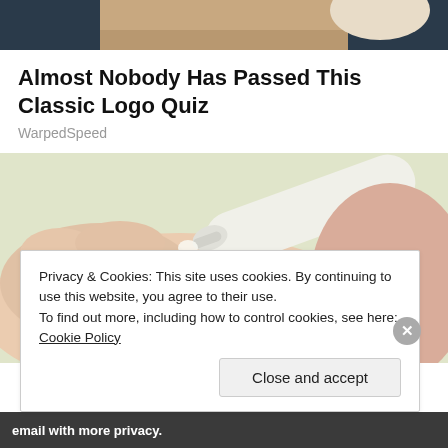[Figure (photo): Top cropped portion of a person wearing a dark outfit, partially visible at top of page]
Almost Nobody Has Passed This Classic Logo Quiz
WarpedSpeed
[Figure (photo): Close-up photo of hands using a cream tube, squeezing cream onto finger, with a light green background]
Privacy & Cookies: This site uses cookies. By continuing to use this website, you agree to their use.
To find out more, including how to control cookies, see here: Cookie Policy
Close and accept
email with more privacy.